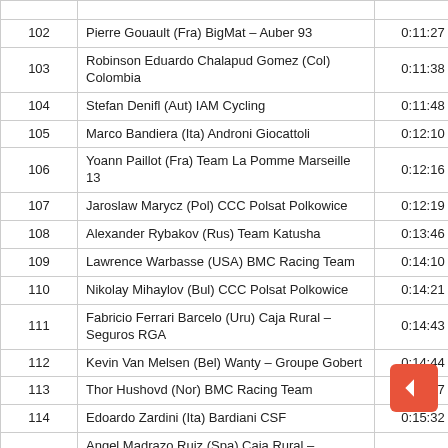| # | Name | Time |  |
| --- | --- | --- | --- |
| 102 | Pierre Gouault (Fra) BigMat – Auber 93 | 0:11:27 |  |
| 103 | Robinson Eduardo Chalapud Gomez (Col) Colombia | 0:11:38 |  |
| 104 | Stefan Denifl (Aut) IAM Cycling | 0:11:48 |  |
| 105 | Marco Bandiera (Ita) Androni Giocattoli | 0:12:10 |  |
| 106 | Yoann Paillot (Fra) Team La Pomme Marseille 13 | 0:12:16 |  |
| 107 | Jaroslaw Marycz (Pol) CCC Polsat Polkowice | 0:12:19 |  |
| 108 | Alexander Rybakov (Rus) Team Katusha | 0:13:46 |  |
| 109 | Lawrence Warbasse (USA) BMC Racing Team | 0:14:10 |  |
| 110 | Nikolay Mihaylov (Bul) CCC Polsat Polkowice | 0:14:21 |  |
| 111 | Fabricio Ferrari Barcelo (Uru) Caja Rural – Seguros RGA | 0:14:43 |  |
| 112 | Kevin Van Melsen (Bel) Wanty – Groupe Gobert | 0:14:44 |  |
| 113 | Thor Hushovd (Nor) BMC Racing Team | 0:15:17 |  |
| 114 | Edoardo Zardini (Ita) Bardiani CSF | 0:15:32 |  |
| 115 | Angel Madrazo Ruiz (Spa) Caja Rural – Seguros RGA | 0:15:33 |  |
| 116 | Johannes Fröhlinger (Ger) Team Giant-Shimano | 0:15:3… |  |
| 117 | Fumiyuki Beppu (Jpn) Trek Factory Racing | 0:15:46 |  |